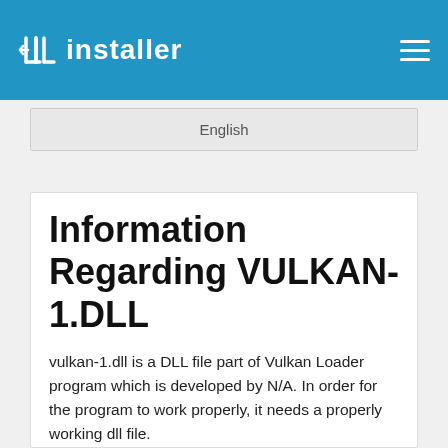dllinstaller
English
Information Regarding VULKAN-1.DLL
vulkan-1.dll is a DLL file part of Vulkan Loader program which is developed by N/A. In order for the program to work properly, it needs a properly working dll file.
Possible VULKAN-1.DLL Error Fixes
If you have visited this page and looking for the